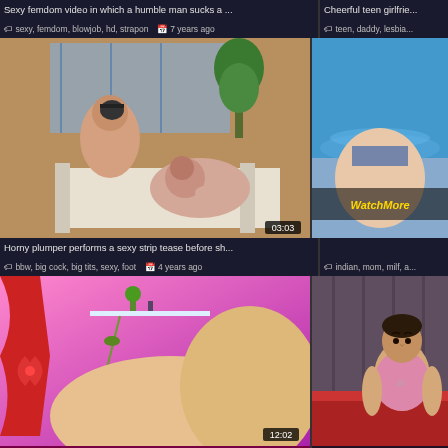Sexy femdom video in which a humble man sucks a ...
Cheerful teen girlfrie...
sexy, femdom, blowjob, hd, strapon  7 years ago
teen, daddy, lesbia...
[Figure (photo): Video thumbnail: adult content, man and woman on white couch, duration 03:03]
[Figure (photo): Video thumbnail: partial body near pool, Watch More overlay]
Horny plumper performs a sexy strip tease before sh...
bbw, big cock, big tits, sexy, foot  4 years ago
indian, mom, milf, a...
[Figure (photo): Video thumbnail: adult content, pink/purple room with decorative shelf, duration 12:02]
[Figure (photo): Video thumbnail: man in pink shirt sitting on red couch]